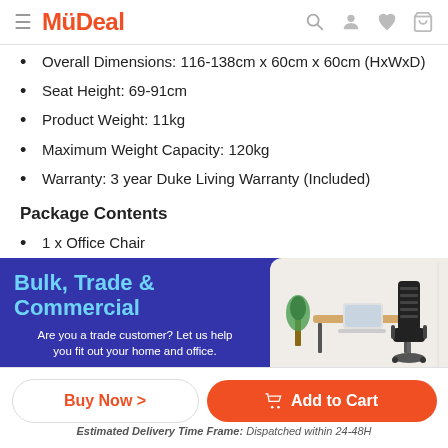MyDeal
Overall Dimensions: 116-138cm x 60cm x 60cm (HxWxD)
Seat Height: 69-91cm
Product Weight: 11kg
Maximum Weight Capacity: 120kg
Warranty: 3 year Duke Living Warranty (Included)
Package Contents
1 x Office Chair
[Figure (screenshot): Bulk, Trade & Commercial promotional banner with office chair image]
Estimated Delivery Time Frame: Dispatched within 24-48H